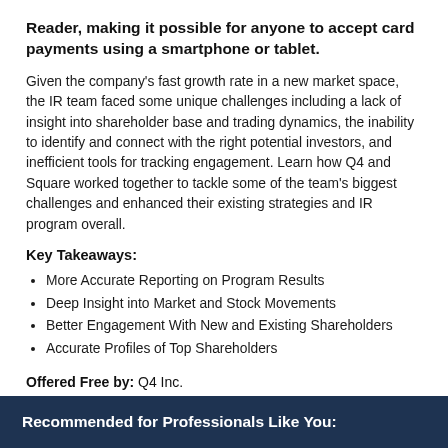Reader, making it possible for anyone to accept card payments using a smartphone or tablet.
Given the company's fast growth rate in a new market space, the IR team faced some unique challenges including a lack of insight into shareholder base and trading dynamics, the inability to identify and connect with the right potential investors, and inefficient tools for tracking engagement. Learn how Q4 and Square worked together to tackle some of the team's biggest challenges and enhanced their existing strategies and IR program overall.
Key Takeaways:
More Accurate Reporting on Program Results
Deep Insight into Market and Stock Movements
Better Engagement With New and Existing Shareholders
Accurate Profiles of Top Shareholders
Offered Free by: Q4 Inc.
Recommended for Professionals Like You: